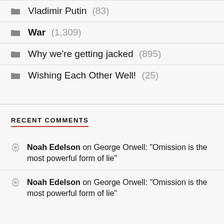Vladimir Putin (83)
War (1,309)
Why we're getting jacked (895)
Wishing Each Other Well! (25)
RECENT COMMENTS
Noah Edelson on George Orwell: "Omission is the most powerful form of lie"
Noah Edelson on George Orwell: "Omission is the most powerful form of lie"